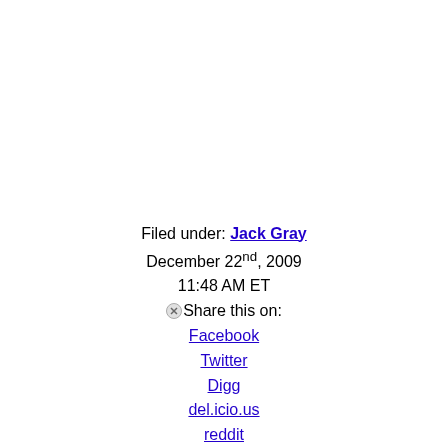Filed under: Jack Gray
December 22nd, 2009
11:48 AM ET
⊗Share this on:
Facebook
Twitter
Digg
del.icio.us
reddit